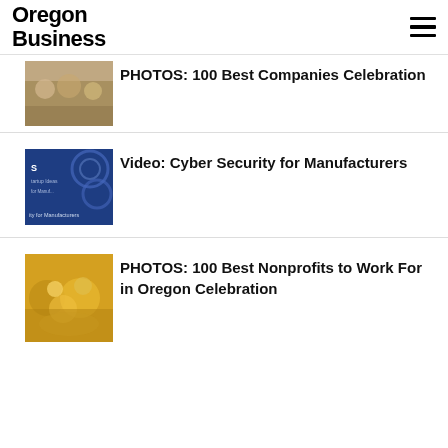Oregon Business
[Figure (photo): Thumbnail photo of people at a celebration event]
PHOTOS: 100 Best Companies Celebration
[Figure (photo): Thumbnail image of a blue Cyber Security for Manufacturers video cover]
Video: Cyber Security for Manufacturers
[Figure (photo): Thumbnail photo of people at a nonprofits celebration event]
PHOTOS: 100 Best Nonprofits to Work For in Oregon Celebration